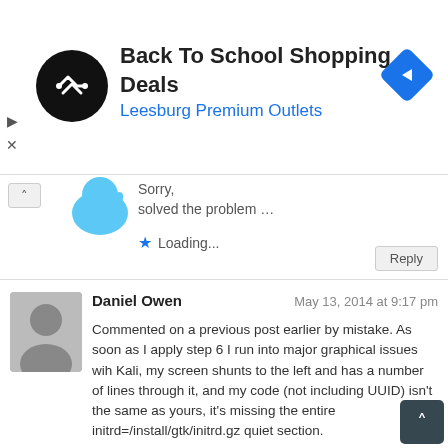[Figure (screenshot): Ad banner: Back To School Shopping Deals at Leesburg Premium Outlets, with circular black logo and blue diamond navigation icon]
Sorry, solved the problem …
★ Loading...
Reply
Daniel Owen    May 13, 2014 at 9:17 pm
Commented on a previous post earlier by mistake. As soon as I apply step 6 I run into major graphical issues wih Kali, my screen shunts to the left and has a number of lines through it, and my code (not including UUID) isn't the same as yours, it's missing the entire initrd=/install/gtk/initrd.gz quiet section.

Also your before and after code in step 6 is identical.
★ Loading...
Reply
Daniel Owen    May 14, 2014 at 5:04 am